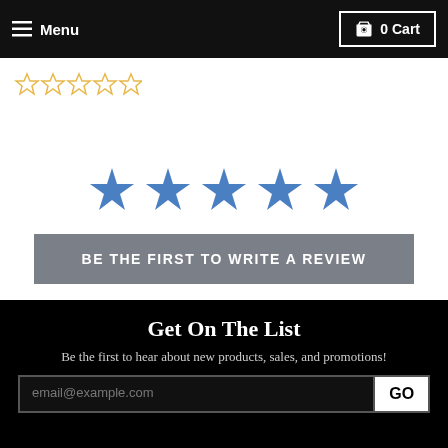Menu | 0 Cart
[Figure (other): Five empty gold star rating icons in the top-left of the white section]
[Figure (other): Five solid blue star rating icons centered in the white section]
BE THE FIRST TO WRITE A REVIEW
Get On The List
Be the first to hear about new products, sales, and promotions!
email@example.com
GO